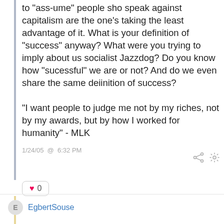to "ass-ume" people sho speak against capitalism are the one's taking the least advantage of it. What is your definition of "success" anyway? What were you trying to imply about us socialist Jazzdog? Do you know how "sucessful" we are or not? And do we even share the same deiinition of success?

"I want people to judge me not by my riches, not by my awards, but by how I worked for humanity" - MLK
1/24/05 @ 6:32 PM
0
EgbertSouse